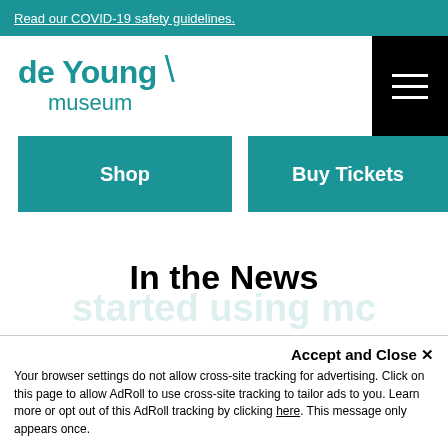Read our COVID-19 safety guidelines.
[Figure (logo): de Young museum logo with teal text and backslash, plus hamburger menu icon on black background]
Shop
Buy Tickets
In the News
Accept and Close ×
Your browser settings do not allow cross-site tracking for advertising. Click on this page to allow AdRoll to use cross-site tracking to tailor ads to you. Learn more or opt out of this AdRoll tracking by clicking here. This message only appears once.